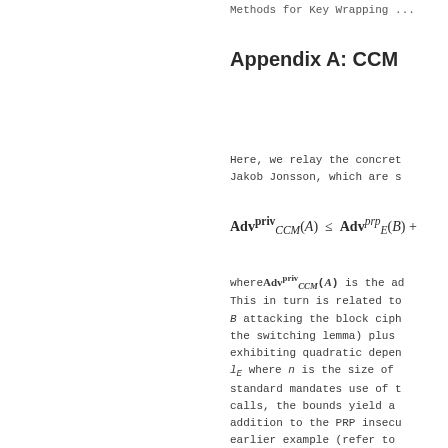Methods for Key Wrapping ...
Appendix A: CCM
Here, we relay the concret... Jakob Jonsson, which are s...
where Adv^priv_CCM(A) is the ad... This in turn is related to... B attacking the block ciph... the switching lemma) plus ... exhibiting quadratic depen... l_E where n is the size of... standard mandates use of t... calls, the bounds yield a ... addition to the PRP insecu... earlier example (refer to ... "Rationale") limiting the ... with a maximal message siz...